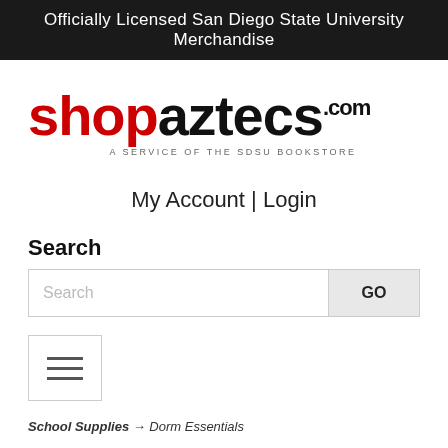Officially Licensed San Diego State University Merchandise
[Figure (logo): shopaztecs.com logo with tagline A SERVICE OF THE SDSU BOOKSTORE]
My Account | Login
Search
[Figure (screenshot): Search input field with GO button]
[Figure (screenshot): Hamburger menu button with three horizontal lines]
School Supplies → Dorm Essentials